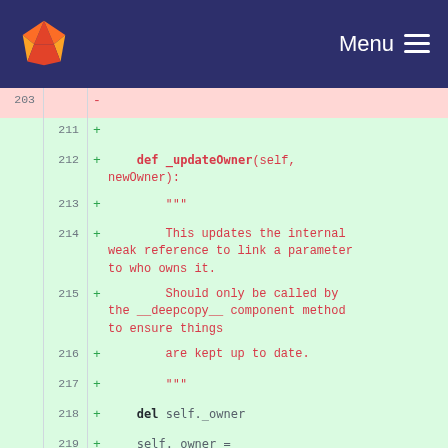[Figure (screenshot): GitLab navigation bar with orange fox logo and Menu button on dark navy background]
Code diff view showing lines 203-222 with line numbers, + and - markers, and Python code for _updateOwner and _onOwnerRemoved methods